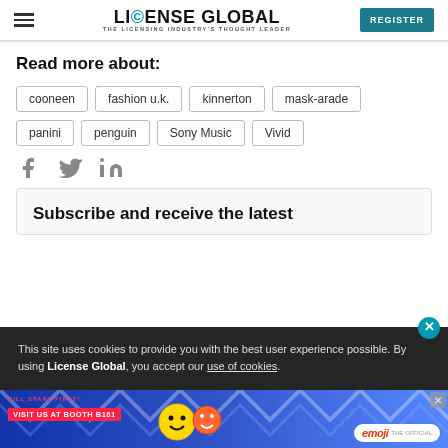LICENSE GLOBAL — THE LICENSING INDUSTRY'S THOUGHT LEADER | REGISTER
Read more about:
cooneen
fashion u.k.
kinnerton
mask-arade
panini
penguin
Sony Music
Vivid
[Figure (other): Social share icons: Facebook, Twitter, LinkedIn]
Subscribe and receive the latest
This site uses cookies to provide you with the best user experience possible. By using License Global, you accept our use of cookies.
[Figure (other): Advertisement banner: emoji brand — VISIT US AT BOOTH B161 with colorful characters]